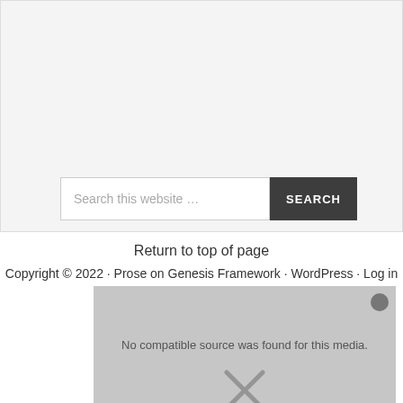[Figure (screenshot): Search box UI with gray background area, text input field with placeholder 'Search this website ...' and dark gray SEARCH button]
Return to top of page
Copyright © 2022 · Prose on Genesis Framework · WordPress · Log in
[Figure (screenshot): Media player overlay with gray background showing 'No compatible source was found for this media.' error message and an X close button]